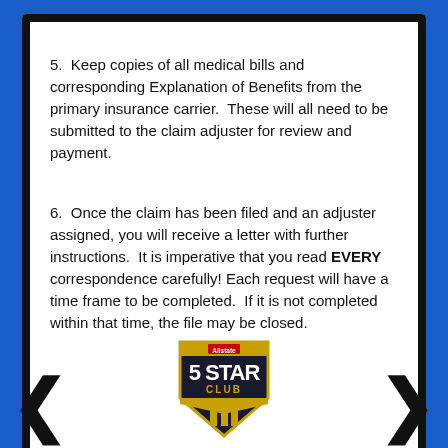5.  Keep copies of all medical bills and corresponding Explanation of Benefits from the primary insurance carrier.  These will all need to be submitted to the claim adjuster for review and payment.
6.  Once the claim has been filed and an adjuster assigned, you will receive a letter with further instructions.  It is imperative that you read EVERY correspondence carefully! Each request will have a time frame to be completed.  If it is not completed within that time, the file may be closed.
[Figure (logo): 5 Star Club logo — shield shape with '5 STAR CLUB' text and trophy icon with stars]